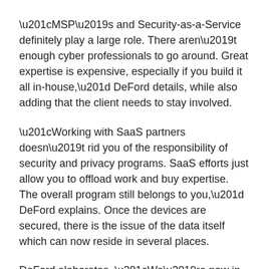“MSP’s and Security-as-a-Service definitely play a large role. There aren’t enough cyber professionals to go around. Great expertise is expensive, especially if you build it all in-house,” DeFord details, while also adding that the client needs to stay involved.
“Working with SaaS partners doesn’t rid you of the responsibility of security and privacy programs. SaaS efforts just allow you to offload work and buy expertise. The overall program still belongs to you,” DeFord explains. Once the devices are secured, there is the issue of the data itself which can now reside in several places.
DeFord elaborates, “We’re now in this interesting world of analytics, where the source system where the data resides for operation is often no longer the only place it resides. We might take action to secure each of our applications and the